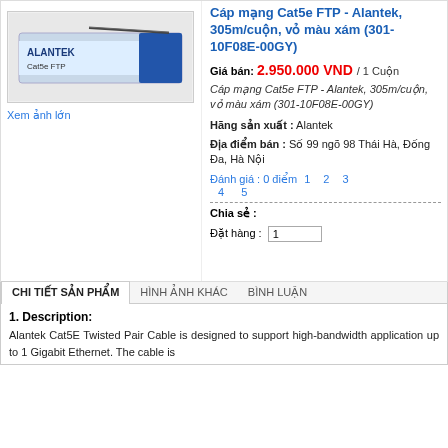[Figure (photo): Product photo of Alantek Cat5e FTP cable box, gray/blue packaging]
Cáp mạng Cat5e FTP - Alantek, 305m/cuộn, vỏ màu xám (301-10F08E-00GY)
Giá bán: 2.950.000 VND / 1 Cuộn
Cáp mạng Cat5e FTP - Alantek, 305m/cuộn, vỏ màu xám (301-10F08E-00GY)
Hãng sản xuất : Alantek
Địa điểm bán : Số 99 ngõ 98 Thái Hà, Đống Đa, Hà Nội
Đánh giá : 0 điểm 1  2  3  4  5
Chia sẻ :
Đặt hàng : 1
Xem ảnh lớn
CHI TIẾT SẢN PHẨM   HÌNH ẢNH KHÁC   BÌNH LUẬN
1. Description:
Alantek Cat5E Twisted Pair Cable is designed to support high-bandwidth application up to 1 Gigabit Ethernet. The cable is